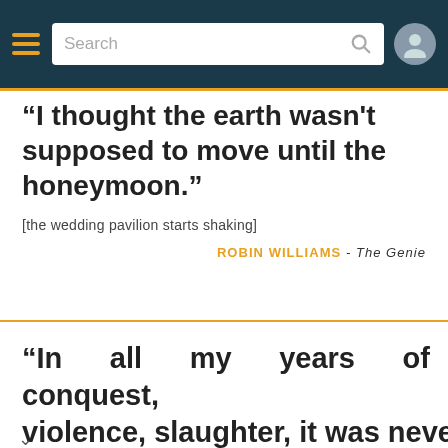[Figure (screenshot): Mobile app navigation bar with hamburger menu, search box, and user icon on dark teal background]
“I thought the earth wasn't supposed to move until the honeymoon.”
[the wedding pavilion starts shaking]
ROBIN WILLIAMS - The Genie
“In all my years of conquest, violence, slaughter, it was never personal. But I’ll tell u now, what I’m about to do to your